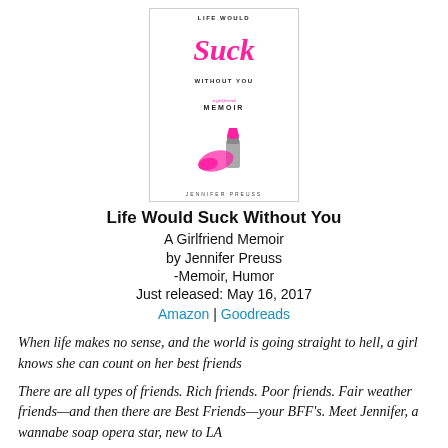[Figure (illustration): Book cover for 'Life Would Suck Without You: A Girlfriend Memoir' by Jennifer Preuss. Pink and white cover with stylized text and a pink lipstick image.]
Life Would Suck Without You
A Girlfriend Memoir
by Jennifer Preuss
-Memoir, Humor
Just released: May 16, 2017
Amazon | Goodreads
When life makes no sense, and the world is going straight to hell, a girl knows she can count on her best friends
There are all types of friends. Rich friends. Poor friends. Fair weather friends—and then there are Best Friends—your BFF's. Meet Jennifer, a wannabe soap opera star, new to LA